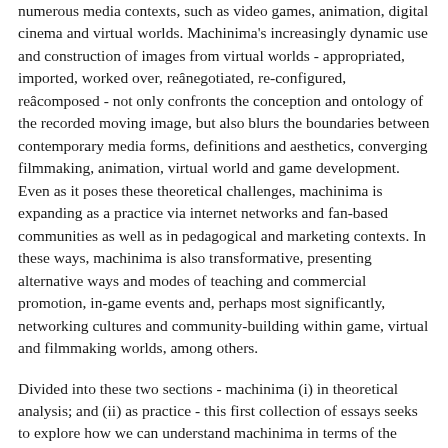numerous media contexts, such as video games, animation, digital cinema and virtual worlds. Machinima's increasingly dynamic use and construction of images from virtual worlds - appropriated, imported, worked over, reânegotiated, re-configured, reâcomposed - not only confronts the conception and ontology of the recorded moving image, but also blurs the boundaries between contemporary media forms, definitions and aesthetics, converging filmmaking, animation, virtual world and game development. Even as it poses these theoretical challenges, machinima is expanding as a practice via internet networks and fan-based communities as well as in pedagogical and marketing contexts. In these ways, machinima is also transformative, presenting alternative ways and modes of teaching and commercial promotion, in-game events and, perhaps most significantly, networking cultures and community-building within game, virtual and filmmaking worlds, among others.
Divided into these two sections - machinima (i) in theoretical analysis; and (ii) as practice - this first collection of essays seeks to explore how we can understand machinima in terms of the theoretical